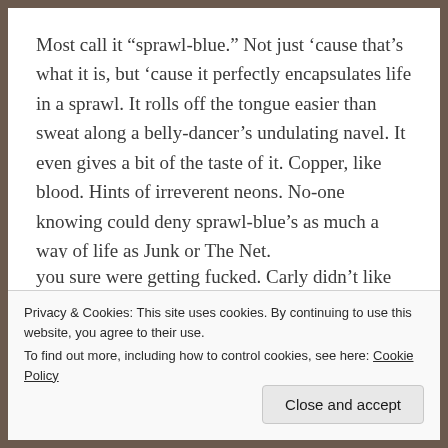Most call it “sprawl-blue.” Not just ‘cause that’s what it is, but ‘cause it perfectly encapsulates life in a sprawl. It rolls off the tongue easier than sweat along a belly-dancer’s undulating navel. It even gives a bit of the taste of it. Copper, like blood. Hints of irreverent neons. No-one knowing could deny sprawl-blue’s as much a way of life as Junk or The Net.
Personally, Carly didn’t care for either of the last two. She was just a girl trying to make her way without being fucked for her money. In a sprawl, if you didn’t do it for yourself, you sure were getting fucked. Carly didn’t like getting
Privacy & Cookies: This site uses cookies. By continuing to use this website, you agree to their use.
To find out more, including how to control cookies, see here: Cookie Policy